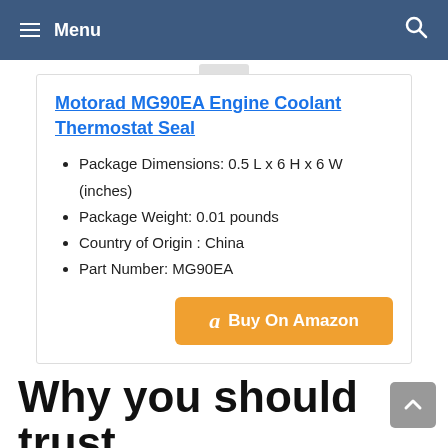Menu
Motorad MG90EA Engine Coolant Thermostat Seal
Package Dimensions: 0.5 L x 6 H x 6 W (inches)
Package Weight: 0.01 pounds
Country of Origin : China
Part Number: MG90EA
Buy On Amazon
Why you should trust